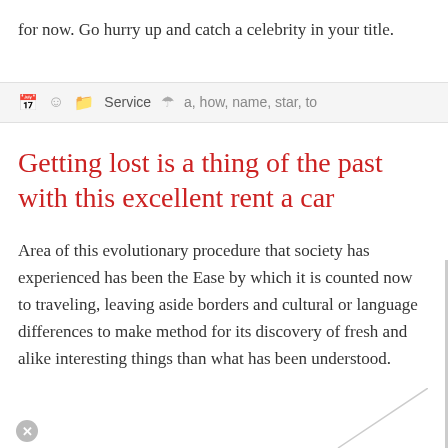for now. Go hurry up and catch a celebrity in your title.
Service   a, how, name, star, to
Getting lost is a thing of the past with this excellent rent a car
Area of this evolutionary procedure that society has experienced has been the Ease by which it is counted now to traveling, leaving aside borders and cultural or language differences to make method for its discovery of fresh and alike interesting things than what has been understood.